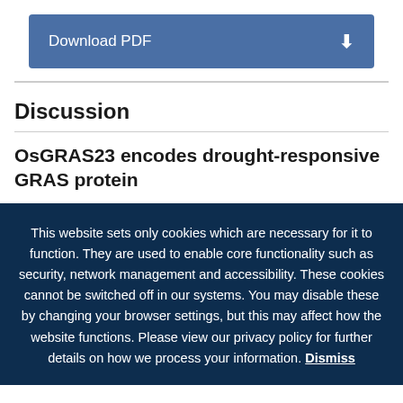[Figure (other): Download PDF button with blue background and download icon]
Discussion
OsGRAS23 encodes drought-responsive GRAS protein
This website sets only cookies which are necessary for it to function. They are used to enable core functionality such as security, network management and accessibility. These cookies cannot be switched off in our systems. You may disable these by changing your browser settings, but this may affect how the website functions. Please view our privacy policy for further details on how we process your information. Dismiss